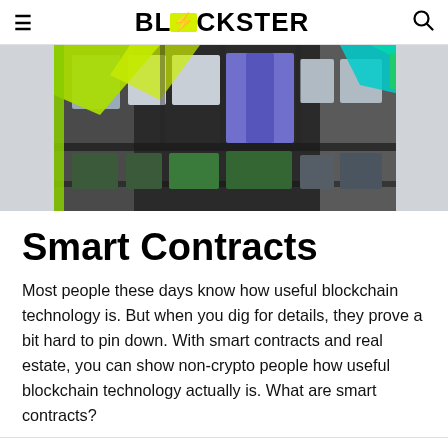BLOCKSTER
[Figure (photo): Exterior of a modern building with colorful geometric shapes (green, cyan, blue, red) overlaid on a dark grey facade with large windows.]
Smart Contracts
Most people these days know how useful blockchain technology is. But when you dig for details, they prove a bit hard to pin down. With smart contracts and real estate, you can show non-crypto people how useful blockchain technology actually is. What are smart contracts?
1 Share